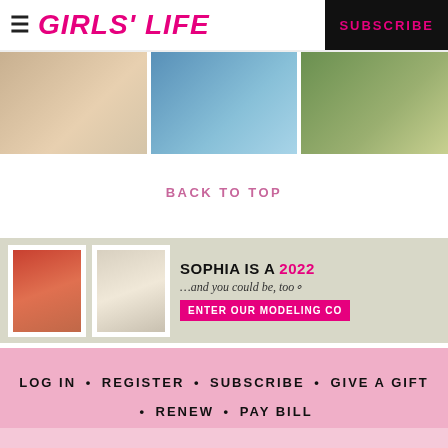GIRLS' LIFE  SUBSCRIBE
[Figure (photo): Three photos in a horizontal strip: gold rings on a hand, person holding ankles near water, pizza with greens]
BACK TO TOP
[Figure (infographic): Modeling contest ad banner: two polaroid photos of Sophia, text SOPHIA IS A 2022 ...and you could be, too. ENTER OUR MODELING CO[NTEST]]
LOG IN • REGISTER • SUBSCRIBE • GIVE A GIFT • RENEW • PAY BILL